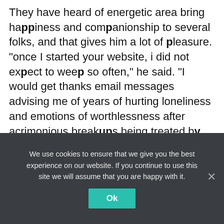They have heard of energetic area bring happiness and companionship to several folks, and that gives him a lot of pleasure. "once I started your website, i did not expect to weep so often," he said. "I would get thanks email messages advising me of years of hurting loneliness and emotions of worthlessness after acrimonious breakups being treated by joining this site."

The just what Has exterior Duo completed for myself section gives users just a peek of individual associations forged in the site's
We use cookies to ensure that we give you the best experience on our website. If you continue to use this site we will assume that you are happy with it.